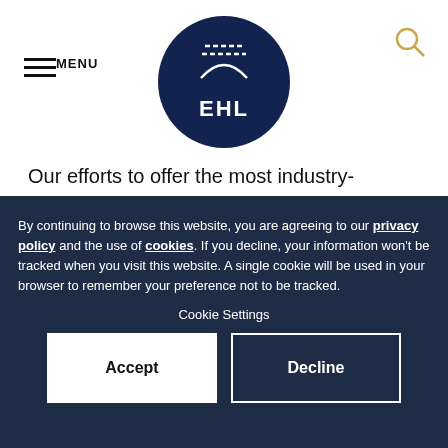MENU
[Figure (logo): EHL (Ecole hôtelière de Lausanne) circular dark navy logo with stylized building/arch icon above EHL text]
Our efforts to offer the most industry-relevant, high-quality academic programs have been well recognized. In 2022, for the fourth year in a row, EHL was ranked number one by the QS World University Ranking for Hospitality and Leisure Management.
By continuing to browse this website, you are agreeing to our privacy policy and the use of cookies. If you decline, your information won't be tracked when you visit this website. A single cookie will be used in your browser to remember your preference not to be tracked.
Cookie Settings
Accept
Decline